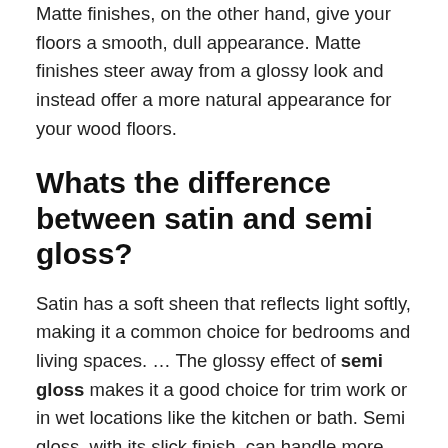Matte finishes, on the other hand, give your floors a smooth, dull appearance. Matte finishes steer away from a glossy look and instead offer a more natural appearance for your wood floors.
Whats the difference between satin and semi gloss?
Satin has a soft sheen that reflects light softly, making it a common choice for bedrooms and living spaces. … The glossy effect of semi gloss makes it a good choice for trim work or in wet locations like the kitchen or bath. Semi gloss, with its slick finish, can handle more enthusiastic scrubbing.
What color cabinets never go out of style?